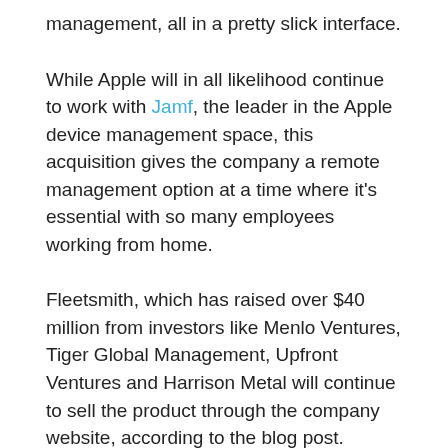management, all in a pretty slick interface.
While Apple will in all likelihood continue to work with Jamf, the leader in the Apple device management space, this acquisition gives the company a remote management option at a time where it's essential with so many employees working from home.
Fleetsmith, which has raised over $40 million from investors like Menlo Ventures, Tiger Global Management, Upfront Ventures and Harrison Metal will continue to sell the product through the company website, according to the blog post.
The founders put a happy on the face on the deal, as founders tend to do. “We’re thrilled to join Apple. Our shared values of putting the customer at the center of everything we do without sacrificing privacy and security, means we can